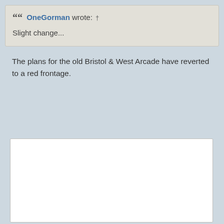“” OneGorman wrote: † Slight change...
The plans for the old Bristol & West Arcade have reverted to a red frontage.
[Figure (other): White empty image box]